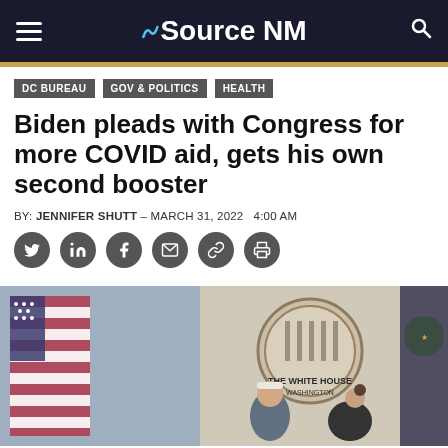Source NM
DC BUREAU
GOV & POLITICS
HEALTH
Biden pleads with Congress for more COVID aid, gets his own second booster
BY: JENNIFER SHUTT - MARCH 31, 2022  4:00 AM
[Figure (photo): President Biden seated at a desk in front of The White House Washington seal, flanked by an American flag on the left and the Presidential seal flag on the right, with a woman leaning over near him.]